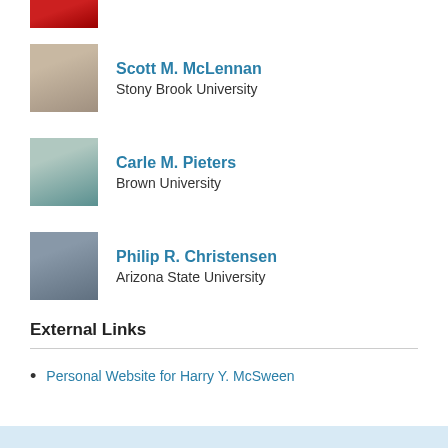[Figure (photo): Partial photo of a person in red at top of page]
Scott M. McLennan
Stony Brook University
Carle M. Pieters
Brown University
Philip R. Christensen
Arizona State University
External Links
Personal Website for Harry Y. McSween